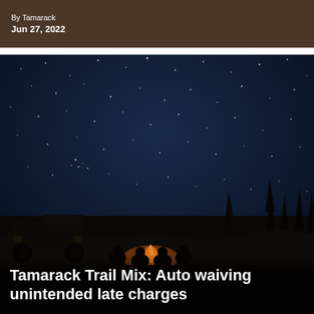By Tamarack
Jun 27, 2022
[Figure (photo): Night sky photo with stars, people sitting around a campfire, silhouetted trees and a truck in the background, dramatic outdoor scene at dusk/night]
Tamarack Trail Mix: Auto waiving unintended late charges